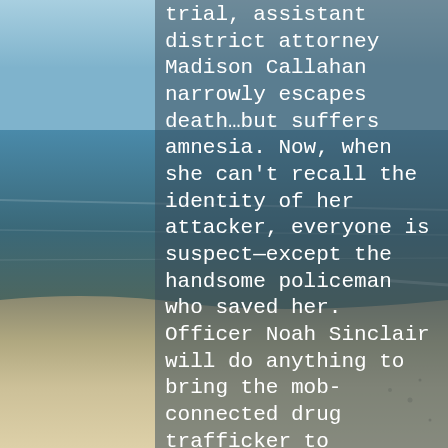[Figure (photo): Background photo of a beach scene with blue-green ocean water and sandy shore under a blue sky.]
trial, assistant district attorney Madison Callahan narrowly escapes death…but suffers amnesia. Now, when she can't recall the identity of her attacker, everyone is suspect—except the handsome policeman who saved her. Officer Noah Sinclair will do anything to bring the mob-connected drug trafficker to justice, including providing personal protection to Madison—the sister of the partner he nearly got killed. But helping her regain her memory may end their unlikely alliance because once she remembers him, Noah might be the last man she'll want to rely on. As the trial looms and with the assailant dead set on ensuring that Madison doesn't survive to see Christmas, it'll take everything Noah's got to keep